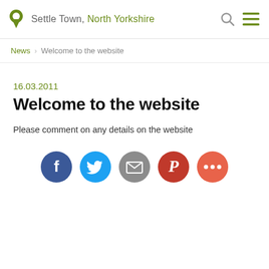Settle Town, North Yorkshire
News > Welcome to the website
16.03.2011
Welcome to the website
Please comment on any details on the website
[Figure (other): Social sharing icons: Facebook, Twitter, Email, Pinterest, More]